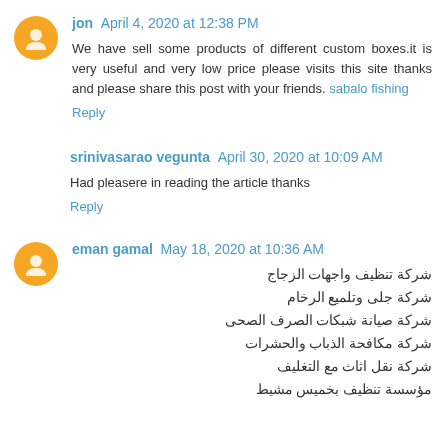jon April 4, 2020 at 12:38 PM
We have sell some products of different custom boxes.it is very useful and very low price please visits this site thanks and please share this post with your friends. sabalo fishing
Reply
srinivasarao vegunta April 30, 2020 at 10:09 AM
Had pleasere in reading the article thanks
Reply
eman gamal May 18, 2020 at 10:36 AM
شركة تنظيف واجهات الزجاج
شركة جلى وتلميع الرخام
شركة صيانة شبكات الصرف الصحى
شركة مكافحة الذباب والحشرات
شركة نقل اثاث مع التغليف
مؤسسة تنظيف بخميس مشيط